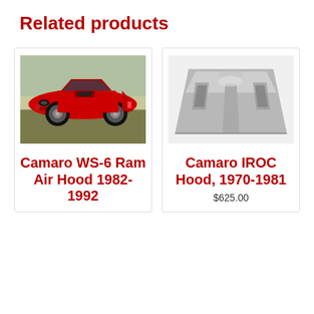Related products
[Figure (photo): Red Camaro sports car, front three-quarter view, outdoors on a sunny day]
Camaro WS-6 Ram Air Hood 1982-1992
[Figure (photo): Gray automotive hood panel (Camaro IROC hood) displayed on white background, showing IROC-style contours and vents]
Camaro IROC Hood, 1970-1981
$625.00